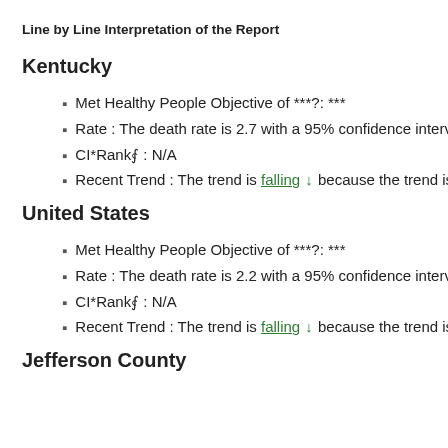Line by Line Interpretation of the Report
Kentucky
Met Healthy People Objective of ***?: ***
Rate : The death rate is 2.7 with a 95% confidence interva
CI*Rank⋔ : N/A
Recent Trend : The trend is falling ↓ because the trend is
United States
Met Healthy People Objective of ***?: ***
Rate : The death rate is 2.2 with a 95% confidence interva
CI*Rank⋔ : N/A
Recent Trend : The trend is falling ↓ because the trend is
Jefferson County